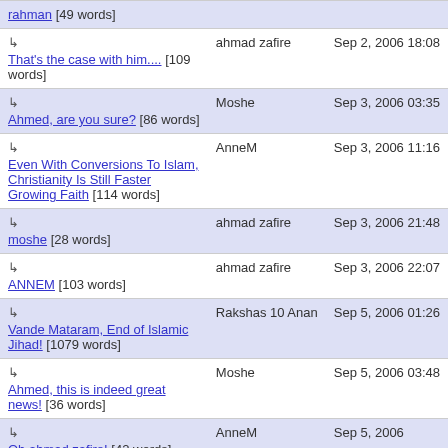| Title | Author | Date |
| --- | --- | --- |
| rahman [49 words] |  |  |
| ↳ That's the case with him.... [109 words] | ahmad zafire | Sep 2, 2006 18:08 |
| ↳ Ahmed, are you sure? [86 words] | Moshe | Sep 3, 2006 03:35 |
| ↳ Even With Conversions To Islam, Christianity Is Still Faster Growing Faith [114 words] | AnneM | Sep 3, 2006 11:16 |
| ↳ moshe [28 words] | ahmad zafire | Sep 3, 2006 21:48 |
| ↳ ANNEM [103 words] | ahmad zafire | Sep 3, 2006 22:07 |
| ↳ Vande Mataram, End of Islamic Jihad! [1079 words] | Rakshas 10 Anan | Sep 5, 2006 01:26 |
| ↳ Ahmed, this is indeed great news! [36 words] | Moshe | Sep 5, 2006 03:48 |
| ↳ Oh ahmad zafire! [42 words] | AnneM | Sep 5, 2006 |